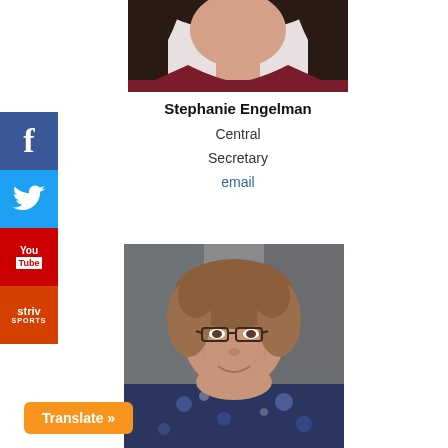[Figure (photo): Partial photo of a woman with long dark hair wearing a dark red/maroon top, cropped at shoulders, upper portion of image]
Stephanie Engelman
Central
Secretary
email
[Figure (photo): Photo of an older woman with curly brown hair wearing glasses and a floral blouse, smiling, against a gray background]
[Figure (illustration): Social media sidebar buttons: Facebook (blue), Twitter (light blue), YouTube (red), Striv Sports (orange-red)]
Translate »